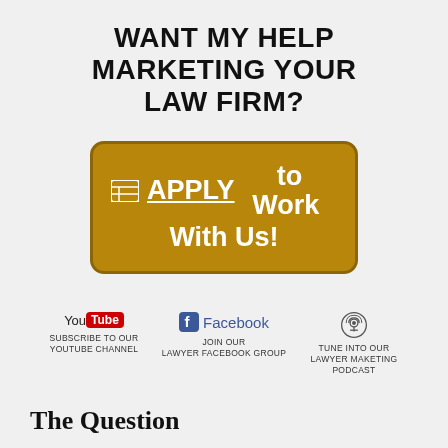WANT MY HELP MARKETING YOUR LAW FIRM?
[Figure (other): Gold apply button with grid icon reading 'APPLY to Work With Us!']
[Figure (other): YouTube logo with text 'SUBSCRIBE TO OUR YOUTUBE CHANNEL', Facebook logo with text 'JOIN OUR LAWYER FACEBOOK GROUP', Podcast icon with text 'TUNE INTO OUR LAWYER MAKETING PODCAST']
The Question
What type of camera do you